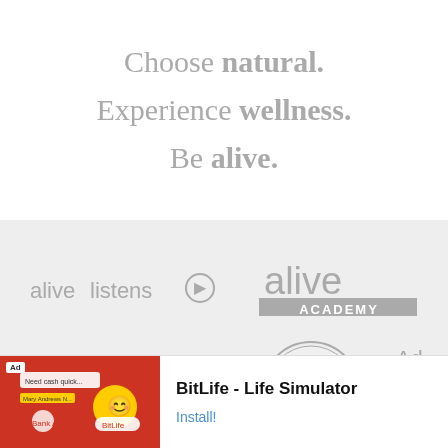Choose natural. Experience wellness. Be alive.
[Figure (logo): alive listens logo with circular icon]
[Figure (logo): alive ACADEMY logo with grey bar]
[Figure (logo): alive Connect logo]
[Figure (logo): alive Retail & Consumer Choice Award badge circular logo]
Ad
BitLife - Life Simulator Install!